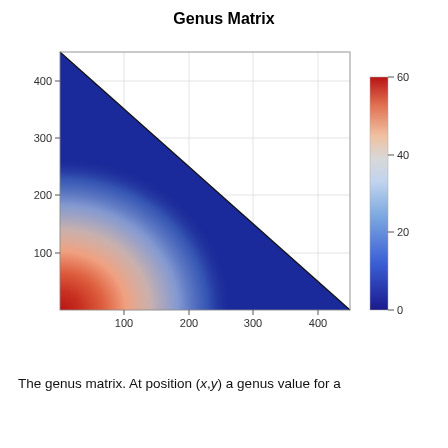Genus Matrix
[Figure (continuous-plot): A triangular heatmap (lower-left triangle) labeled 'Genus Matrix'. X-axis runs from ~0 to 450, y-axis from ~450 to 0 (inverted). The diagonal from top-left to bottom-right cuts the square, with the lower-left triangle filled with color values. The color scale on the right runs from deep blue (0) through light blue, white/grey, light orange, to deep red (60+). The bottom-left corner shows the highest values (red, ~60-70), transitioning through orange and peach in the lower-left region, and mostly blue (low values) elsewhere. A color bar legend on the right shows tick marks at 0, 20, 40, 60.]
The genus matrix. At position (x,y) a genus value for a